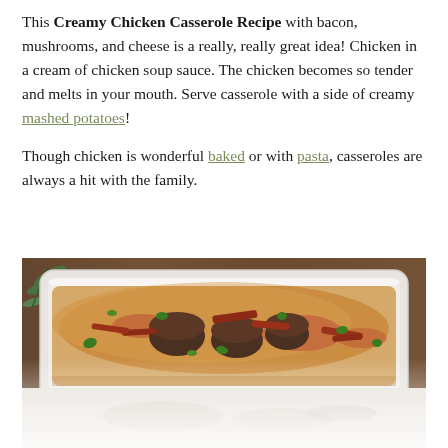This Creamy Chicken Casserole Recipe with bacon, mushrooms, and cheese is a really, really great idea! Chicken in a cream of chicken soup sauce. The chicken becomes so tender and melts in your mouth. Serve casserole with a side of creamy mashed potatoes!
Though chicken is wonderful baked or with pasta, casseroles are always a hit with the family.
[Figure (photo): A white rectangular baking dish containing a creamy chicken casserole topped with mushrooms, bacon pieces, green onions, and melted cheese, placed on a wooden surface with a sprig of herbs visible at top left. The bottom portion of the image is a faded/washed-out reflection or continuation.]